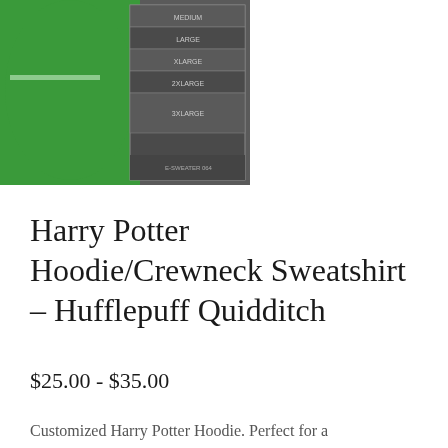[Figure (photo): Product image of a green hoodie/sweatshirt next to a size chart on a dark gray background, showing size options.]
Harry Potter Hoodie/Crewneck Sweatshirt - Hufflepuff Quidditch
$25.00 - $35.00
Customized Harry Potter Hoodie. Perfect for a